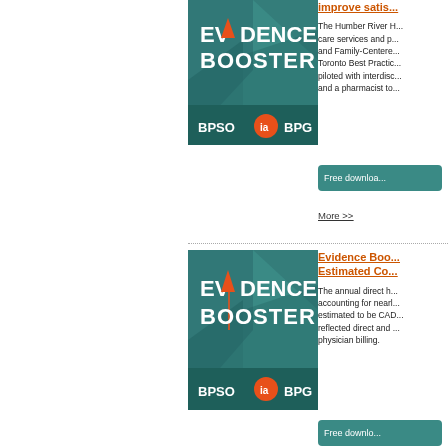[Figure (illustration): Evidence Booster badge with teal geometric background, BPSO ia BPG logos at bottom]
improve satis...
The Humber River H... care services and p... and Family-Centere... Toronto Best Practic... piloted with interdisc... and a pharmacist to...
Free downloa...
More >>
[Figure (illustration): Evidence Booster badge with teal geometric background and orange arrow, BPSO ia BPG logos at bottom]
Evidence Boo... Estimated Co...
The annual direct h... accounting for nearl... estimated to be CAD... reflected direct and ... physician billing.
Free downlo...